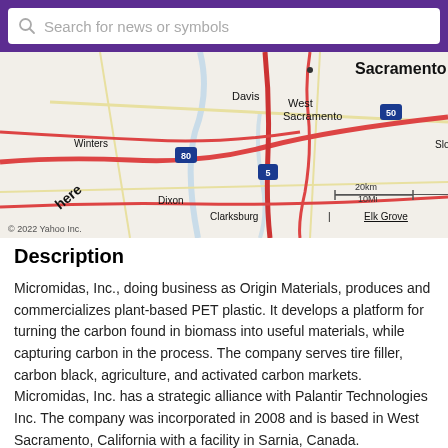Search for news or symbols
[Figure (map): Map showing Sacramento area including West Sacramento, Davis, Winters, Dixon, Clarksburg, Elk Grove, Sloughhou. Shows highways 80, 5, 50. Scale bar shows 20km / 10Mi. Copyright 2022 Yahoo Inc.]
Description
Micromidas, Inc., doing business as Origin Materials, produces and commercializes plant-based PET plastic. It develops a platform for turning the carbon found in biomass into useful materials, while capturing carbon in the process. The company serves tire filler, carbon black, agriculture, and activated carbon markets. Micromidas, Inc. has a strategic alliance with Palantir Technologies Inc. The company was incorporated in 2008 and is based in West Sacramento, California with a facility in Sarnia, Canada.
Corporate governance
Origin Materials Inc. Corporate Governance of Value